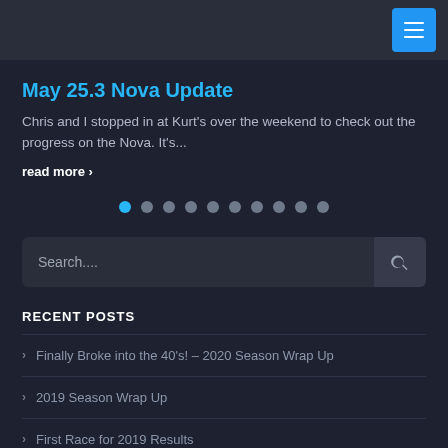Navigation menu bar with hamburger icon
May 25.3 Nova Update
Chris and I stopped in at Kurt's over the weekend to check out the progress on the Nova. It's...
read more ›
[Figure (other): Slider pagination dots: 10 dots, first one highlighted in blue]
[Figure (other): Search input box with search icon on the right]
RECENT POSTS
Finally Broke into the 40's! – 2020 Season Wrap Up
2019 Season Wrap Up
First Race for 2019 Results